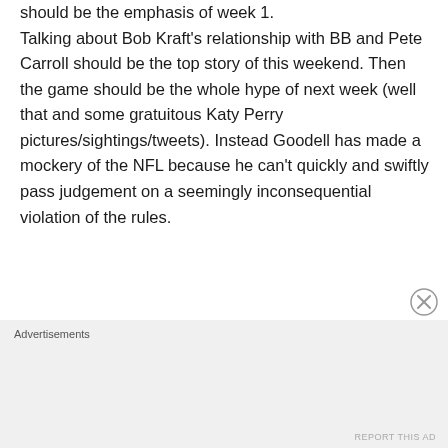should be the emphasis of week 1. Talking about Bob Kraft's relationship with BB and Pete Carroll should be the top story of this weekend. Then the game should be the whole hype of next week (well that and some gratuitous Katy Perry pictures/sightings/tweets). Instead Goodell has made a mockery of the NFL because he can't quickly and swiftly pass judgement on a seemingly inconsequential violation of the rules.
Advertisements